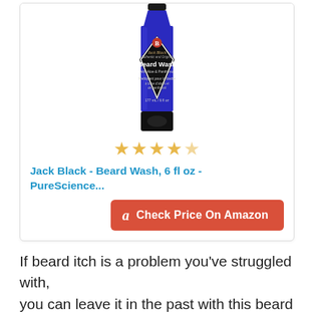[Figure (photo): Jack Black Beard Wash product tube, blue with black label, 6 fl oz]
★★★★☆
Jack Black - Beard Wash, 6 fl oz - PureScience...
Check Price On Amazon
If beard itch is a problem you've struggled with, you can leave it in the past with this beard wash!